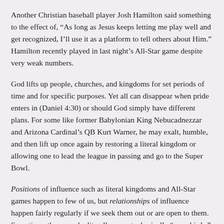Another Christian baseball player Josh Hamilton said something to the effect of, “As long as Jesus keeps letting me play well and get recognized, I’ll use it as a platform to tell others about Him.” Hamilton recently played in last night’s All-Star game despite very weak numbers.
God lifts up people, churches, and kingdoms for set periods of time and for specific purposes. Yet all can disappear when pride enters in (Daniel 4:30) or should God simply have different plans. For some like former Babylonian King Nebucadnezzar and Arizona Cardinal’s QB Kurt Warner, he may exalt, humble, and then lift up once again by restoring a literal kingdom or allowing one to lead the league in passing and go to the Super Bowl.
Positions of influence such as literal kingdoms and All-Star games happen to few of us, but relationships of influence happen fairly regularly if we seek them out or are open to them. Sometimes they may be literally or metaphorically “snowbirds,” in our lives one season and gone the next; sometimes they last much longer.
Regardless of how long your “all-star” status lasts, it is wise to seek the Lord and ask, “What would you have me do with this relationship while I’ve